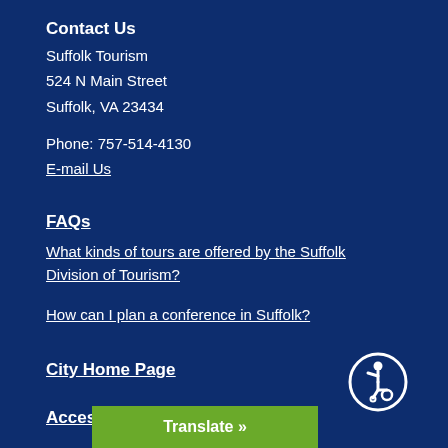Contact Us
Suffolk Tourism
524 N Main Street
Suffolk, VA 23434
Phone: 757-514-4130
E-mail Us
FAQs
What kinds of tours are offered by the Suffolk Division of Tourism?
How can I plan a conference in Suffolk?
City Home Page
Accessibility
Privacy